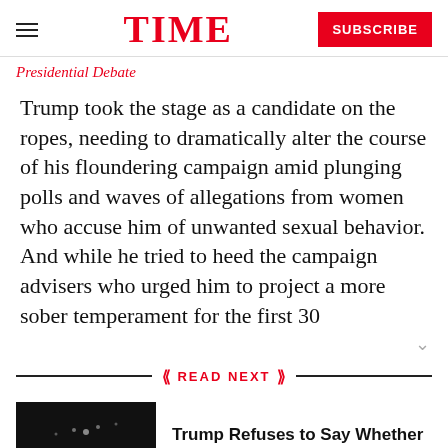TIME | SUBSCRIBE
Presidential Debate
Trump took the stage as a candidate on the ropes, needing to dramatically alter the course of his floundering campaign amid plunging polls and waves of allegations from women who accuse him of unwanted sexual behavior. And while he tried to heed the campaign advisers who urged him to project a more sober temperament for the first 30
READ NEXT
[Figure (photo): Dark photo of a person on stage at a debate]
Trump Refuses to Say Whether He'll Accept Election Results